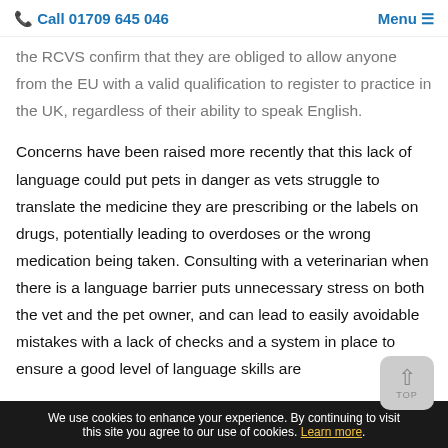Call 01709 645 046   Menu
the RCVS confirm that they are obliged to allow anyone from the EU with a valid qualification to register to practice in the UK, regardless of their ability to speak English.
Concerns have been raised more recently that this lack of language could put pets in danger as vets struggle to translate the medicine they are prescribing or the labels on drugs, potentially leading to overdoses or the wrong medication being taken. Consulting with a veterinarian when there is a language barrier puts unnecessary stress on both the vet and the pet owner, and can lead to easily avoidable mistakes with a lack of checks and a system in place to ensure a good level of language skills are
We use cookies to enhance your experience. By continuing to visit this site you agree to our use of cookies. Learn more.